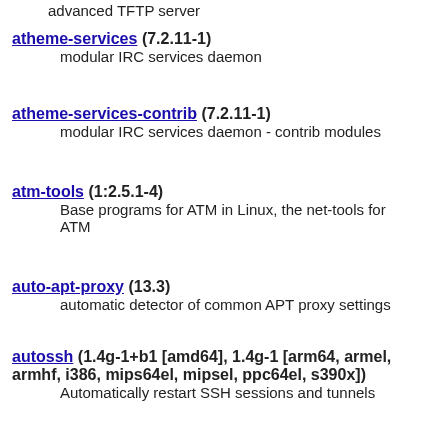advanced TFTP server
atheme-services (7.2.11-1)
    modular IRC services daemon
atheme-services-contrib (7.2.11-1)
    modular IRC services daemon - contrib modules
atm-tools (1:2.5.1-4)
    Base programs for ATM in Linux, the net-tools for ATM
auto-apt-proxy (13.3)
    automatic detector of common APT proxy settings
autossh (1.4g-1+b1 [amd64], 1.4g-1 [arm64, armel, armhf, i386, mips64el, mipsel, ppc64el, s390x])
    Automatically restart SSH sessions and tunnels